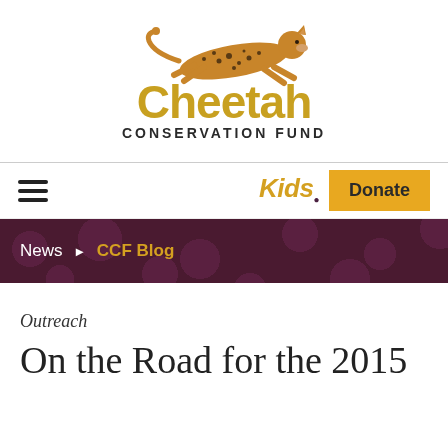[Figure (logo): Cheetah Conservation Fund logo with a running cheetah illustration above the text 'Cheetah' in large gold letters and 'CONSERVATION FUND' in smaller dark letters below]
[Figure (infographic): Navigation bar with hamburger menu icon on the left, 'Kids' text in gold italic on the right, and a gold 'Donate' button]
News ► CCF Blog
Outreach
On the Road for the 2015